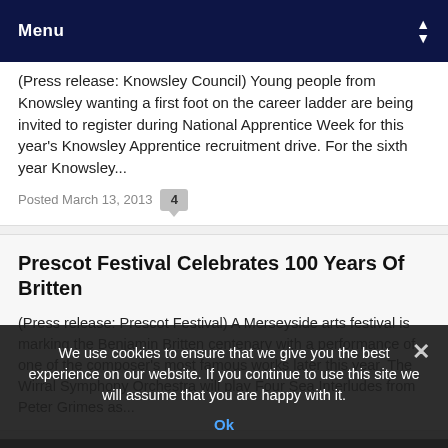Menu
(Press release: Knowsley Council) Young people from Knowsley wanting a first foot on the career ladder are being invited to register during National Apprentice Week for this year's Knowsley Apprentice recruitment drive. For the sixth year Knowsley...
Posted March 13, 2013  4
Prescot Festival Celebrates 100 Years Of Britten
(Press release: Prescot Festival) A Merseyside arts festival is marking the Benjamin Britten centenary with a performance of one of the composer's most famous works later this year. The Wirral Symphony Orchestra will play Four Sea Interludes from Peter Grimes as...
Make Prescot Olympic Torch Banners Free
Click here to find out when the Olympic torch is
We use cookies to ensure that we give you the best experience on our website. If you continue to use this site we will assume that you are happy with it.
Ok